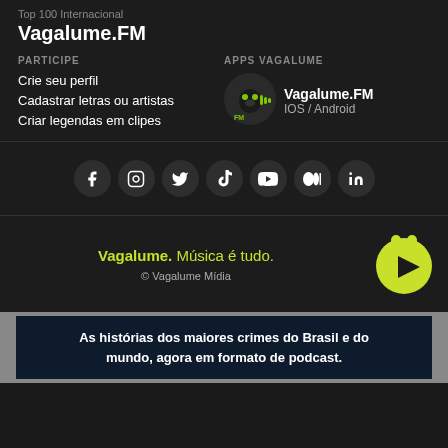Top 100 Internacional
Vagalume.FM
PARTICIPE
Crie seu perfil
Cadastrar letras ou artistas
Criar legendas em clipes
APPS VAGALUME
[Figure (logo): Vagalume.FM app icon - circular dark background with alien face and audio bars in green]
Vagalume.FM IOS / Android
[Figure (infographic): Row of social media icons: Facebook, Instagram, Twitter, TikTok, YouTube, Medium, LinkedIn]
Vagalume. Música é tudo.
[Figure (logo): Vagalume logo - green firefly with play button]
© Vagalume Mídia
As histórias dos maiores crimes do Brasil e do mundo, agora em formato de podcast.